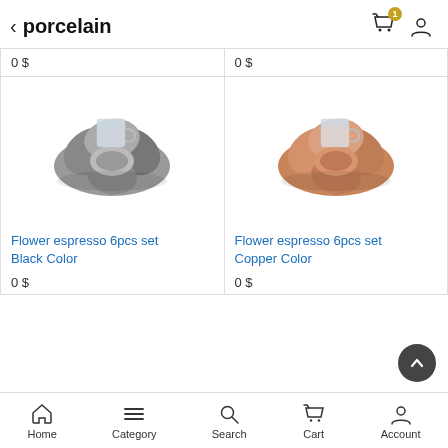porcelain
0 $
0 $
[Figure (photo): Flower espresso cup set with silver/black metallic flower-shaped saucer, top-down view on white background]
Flower espresso 6pcs set Black Color
0 $
[Figure (photo): Flower espresso cup set with copper/rose-gold metallic flower-shaped saucer, top-down view on white background]
Flower espresso 6pcs set Copper Color
0 $
Home  Category  Search  Cart  Account